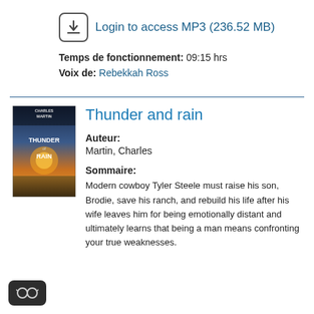Login to access MP3 (236.52 MB)
Temps de fonctionnement: 09:15 hrs
Voix de: Rebekkah Ross
Thunder and rain
Auteur:
Martin, Charles
Sommaire:
Modern cowboy Tyler Steele must raise his son, Brodie, save his ranch, and rebuild his life after his wife leaves him for being emotionally distant and ultimately learns that being a man means confronting your true weaknesses.